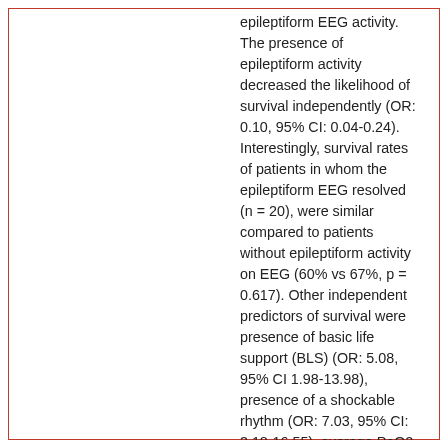epileptiform EEG activity. The presence of epileptiform activity decreased the likelihood of survival independently (OR: 0.10, 95% CI: 0.04-0.24). Interestingly, survival rates of patients in whom the epileptiform EEG resolved (n = 20), were similar compared to patients without epileptiform activity on EEG (60% vs 67%, p = 0.617). Other independent predictors of survival were presence of basic life support (BLS) (OR: 5.08, 95% CI 1.98-13.98), presence of a shockable rhythm (OR: 7.03, 95% CI: 3.18-16.55), average PaO2 (OR = 0.93, CI 95% 0.90-0.96) and% time MAP <65 mmHg (OR: 0.96, CI 95% 0.94-0.98). Conclusion: Epileptiform EEG activity in post-CA patients is independently and inversely associated with survival